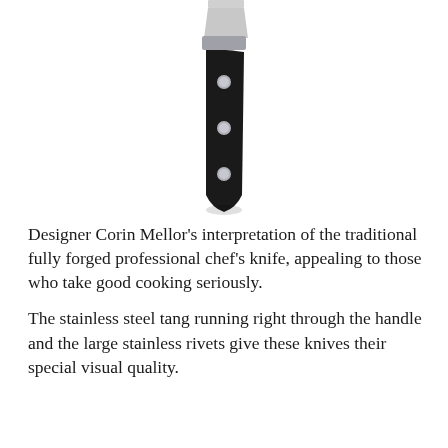[Figure (photo): A professional chef's knife viewed from above, showing the stainless steel blade top and dark black handle with three large stainless steel rivets, oriented vertically with the blade at the top and handle at the bottom.]
Designer Corin Mellor's interpretation of the traditional fully forged professional chef's knife, appealing to those who take good cooking seriously.
The stainless steel tang running right through the handle and the large stainless rivets give these knives their special visual quality.